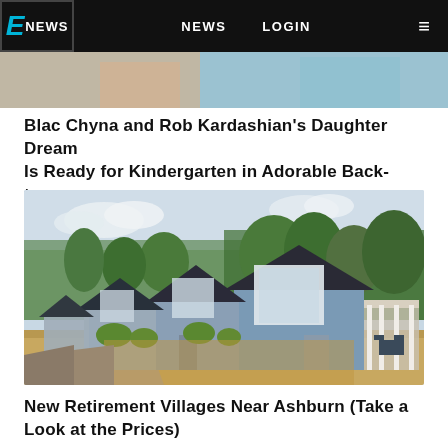E! NEWS  NEWS  LOGIN
[Figure (photo): Partial view of a photo from a celebrity news article, showing a person in colorful clothing]
Blac Chyna and Rob Kardashian's Daughter Dream Is Ready for Kindergarten in Adorable Back-to-...
[Figure (photo): A row of small modern pastel blue cottage-style homes with white trim, surrounded by landscaping, a walkway in the foreground]
New Retirement Villages Near Ashburn (Take a Look at the Prices)